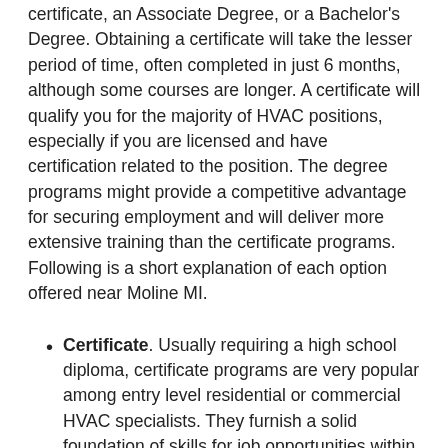certificate, an Associate Degree, or a Bachelor's Degree. Obtaining a certificate will take the lesser period of time, often completed in just 6 months, although some courses are longer. A certificate will qualify you for the majority of HVAC positions, especially if you are licensed and have certification related to the position. The degree programs might provide a competitive advantage for securing employment and will deliver more extensive training than the certificate programs. Following is a short explanation of each option offered near Moline MI.
Certificate. Usually requiring a high school diploma, certificate programs are very popular among entry level residential or commercial HVAC specialists. They furnish a solid foundation of skills for job opportunities within the industry.
Associate Degree. The Associate Degree in HVAC program provides a more exhaustive knowledge of